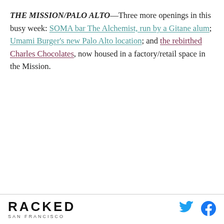THE MISSION/PALO ALTO—Three more openings in this busy week: SOMA bar The Alchemist, run by a Gitane alum; Umami Burger's new Palo Alto location; and the rebirthed Charles Chocolates, now housed in a factory/retail space in the Mission.
RACKED SAN FRANCISCO